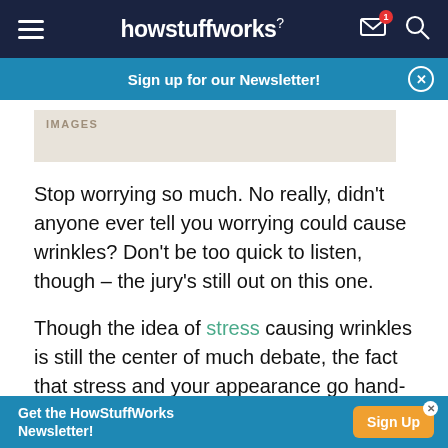howstuffworks
Sign up for our Newsletter!
[Figure (other): Image placeholder with label IMAGES]
Stop worrying so much. No really, didn't anyone ever tell you worrying could cause wrinkles? Don't be too quick to listen, though – the jury's still out on this one.
Though the idea of stress causing wrinkles is still the center of much debate, the fact that stress and your appearance go hand-in-hand is undeniable. Let's
Get the HowStuffWorks Newsletter! Sign Up